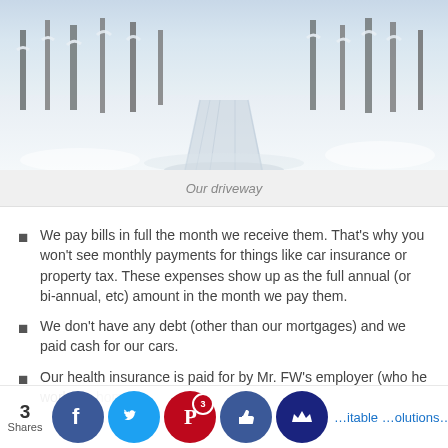[Figure (photo): Winter snow-covered road through bare trees, tracks in the snow]
Our driveway
We pay bills in full the month we receive them. That's why you won't see monthly payments for things like car insurance or property tax. These expenses show up as the full annual (or bi-annual, etc) amount in the month we pay them.
We don't have any debt (other than our mortgages) and we paid cash for our cars.
Our health insurance is paid for by Mr. FW's employer (who he works from hom…
Here's … ve ma… itable … olutions… We Do…